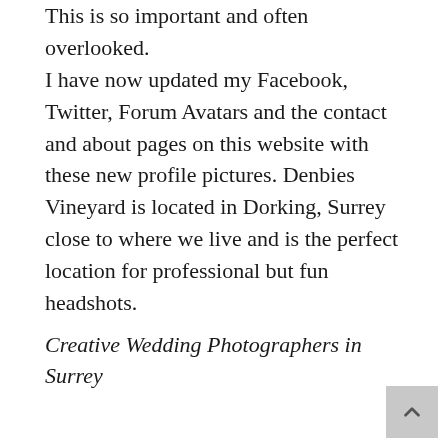This is so important and often overlooked. I have now updated my Facebook, Twitter, Forum Avatars and the contact and about pages on this website with these new profile pictures. Denbies Vineyard is located in Dorking, Surrey close to where we live and is the perfect location for professional but fun headshots.
Creative Wedding Photographers in Surrey